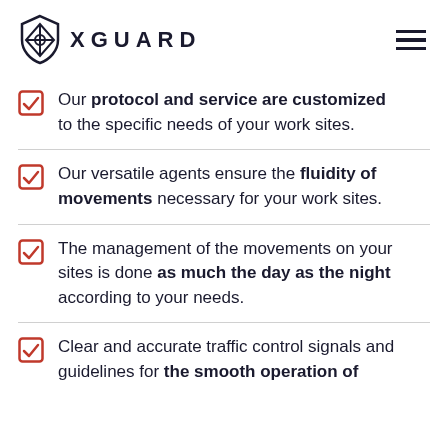XGUARD
Our protocol and service are customized to the specific needs of your work sites.
Our versatile agents ensure the fluidity of movements necessary for your work sites.
The management of the movements on your sites is done as much the day as the night according to your needs.
Clear and accurate traffic control signals and guidelines for the smooth operation of